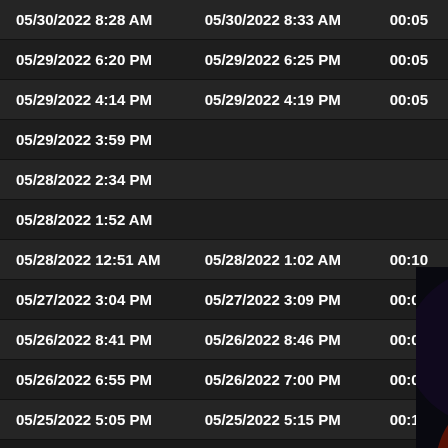| 05/30/2022 8:28 AM | 05/30/2022 8:33 AM | 00:05 |
| 05/29/2022 6:20 PM | 05/29/2022 6:25 PM | 00:05 |
| 05/29/2022 4:14 PM | 05/29/2022 4:19 PM | 00:05 |
| 05/29/2022 3:59 PM |  |  |
| 05/28/2022 2:34 PM |  |  |
| 05/28/2022 1:52 AM |  |  |
| 05/28/2022 12:51 AM | 05/28/2022 1:02 AM | 00:10 |
| 05/27/2022 3:04 PM | 05/27/2022 3:09 PM | 00:05 |
| 05/26/2022 8:41 PM | 05/26/2022 8:46 PM | 00:05 |
| 05/26/2022 6:55 PM | 05/26/2022 7:00 PM | 00:05 |
| 05/25/2022 5:05 PM | 05/25/2022 5:15 PM | 00:10 |
[Figure (screenshot): Video popup overlay showing a Charitable Rust 2022 event thumbnail with play button, mute icon, close (X) button, and text: CHARITABLE RUST 2022 / SATURDAY - SUNDAY / NOV 19 - 20 2022]